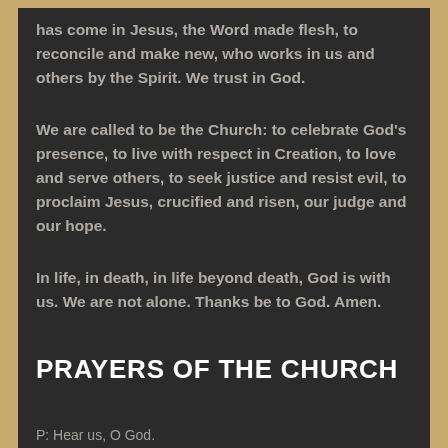has come in Jesus, the Word made flesh, to reconcile and make new, who works in us and others by the Spirit. We trust in God.
We are called to be the Church: to celebrate God's presence, to live with respect in Creation, to love and serve others, to seek justice and resist evil, to proclaim Jesus, crucified and risen, our judge and our hope.
In life, in death, in life beyond death, God is with us. We are not alone. Thanks be to God. Amen.
PRAYERS OF THE CHURCH
P: Hear us, O God.
C: Your mercy is great.